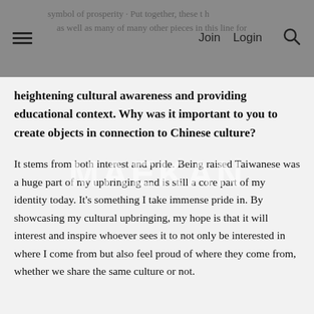…symbol of prosperity…but also…heightening cultural awareness and providing educational context. [navigation: Join | Login | Search]
heightening cultural awareness and providing educational context. Why was it important to you to create objects in connection to Chinese culture?
It stems from both interest and pride. Being raised Taiwanese was a huge part of my upbringing and is still a core part of my identity today. It's something I take immense pride in. By showcasing my cultural upbringing, my hope is that it will interest and inspire whoever sees it to not only be interested in where I come from but also feel proud of where they come from, whether we share the same culture or not.